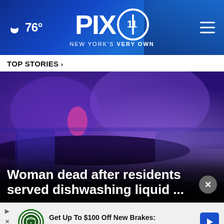PIX 11 NEW YORK'S VERY OWN — 76°
TOP STORIES ›
[Figure (photo): Police car with flashing blue and purple lights at night, blurred motion shot]
Woman dead after residents served dishwashing liquid ...
Get Up To $100 Off New Brakes Virginia Tire & Auto of Ashburn Farms